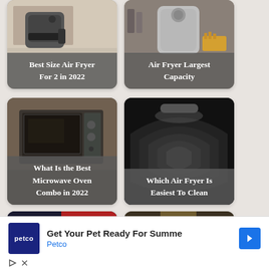[Figure (photo): Air fryer on kitchen counter - card labeled 'Best Size Air Fryer For 2 in 2022']
[Figure (photo): Large air fryer on counter with food items - card labeled 'Air Fryer Largest Capacity']
[Figure (photo): Microwave oven combo in kitchen - card labeled 'What Is the Best Microwave Oven Combo in 2022']
[Figure (photo): Black air fryer basket close-up - card labeled 'Which Air Fryer Is Easiest To Clean']
[Figure (photo): Partial view - dark blue and red appliance]
[Figure (photo): Partial view - kitchen rack or shelf]
Get Your Pet Ready For Summe
Petco